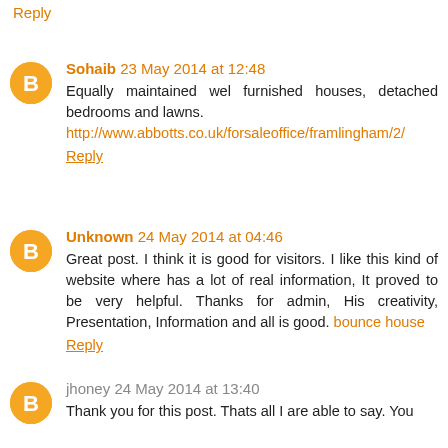Reply
Sohaib 23 May 2014 at 12:48
Equally maintained wel furnished houses, detached bedrooms and lawns.
http://www.abbotts.co.uk/forsaleoffice/framlingham/2/
Reply
Unknown 24 May 2014 at 04:46
Great post. I think it is good for visitors. I like this kind of website where has a lot of real information, It proved to be very helpful. Thanks for admin, His creativity, Presentation, Information and all is good. bounce house
Reply
jhoney 24 May 2014 at 13:40
Thank you for this post. Thats all I are able to say. You